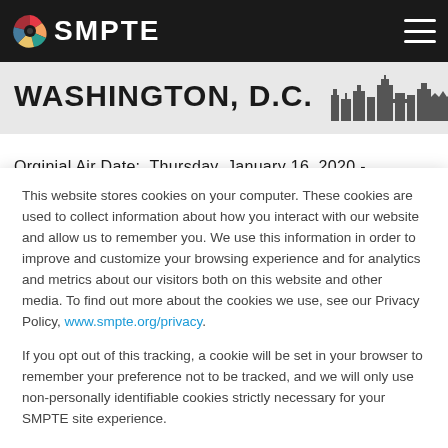SMPTE
WASHINGTON, D.C.
Orginial Air Date:  Thursday, January 16, 2020 -
This website stores cookies on your computer. These cookies are used to collect information about how you interact with our website and allow us to remember you. We use this information in order to improve and customize your browsing experience and for analytics and metrics about our visitors both on this website and other media. To find out more about the cookies we use, see our Privacy Policy, www.smpte.org/privacy.
If you opt out of this tracking, a cookie will be set in your browser to remember your preference not to be tracked, and we will only use non-personally identifiable cookies strictly necessary for your SMPTE site experience.
Accept
Decline